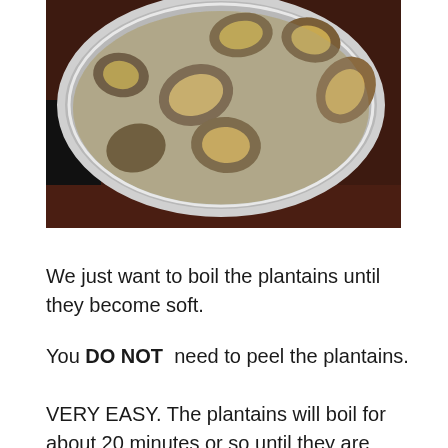[Figure (photo): A metal pot containing chunks of unpeeled plantains submerged in water, viewed from above, sitting on a dark wooden surface.]
We just want to boil the plantains until they become soft.
You DO NOT  need to peel the plantains.
VERY EASY. The plantains will boil for about 20 minutes or so until they are done. It can take longer